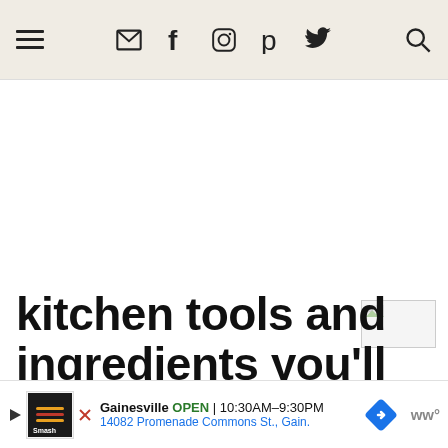Navigation bar with hamburger menu, email, facebook, instagram, pinterest, twitter icons and search icon
[Figure (screenshot): Broken image placeholder in the upper right of the content area]
kitchen tools and ingredients you'll need fo
[Figure (infographic): SmashBurger advertisement bar: Gainesville OPEN 10:30AM-9:30PM, 14082 Promenade Commons St., Gain.]